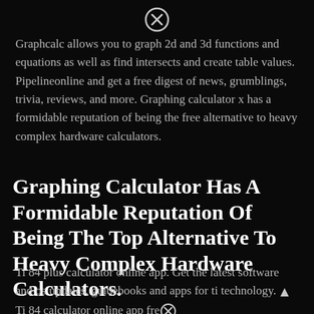[Figure (other): Circular close/cancel icon (X in circle) at top center of page]
Graphcalc allows you to graph 2d and 3d functions and equations as well as find intersects and create table values. Pipelineonline and get a free digest of news, grumblings, trivia, reviews, and more. Graphing calculator x has a formidable reputation of being the free alternative to heavy complex hardware calculators.
Graphing Calculator Has A Formidable Reputation Of Being The Top Alternative To Heavy Complex Hardware Calculators.
Ti 84 plus calculator online app. Get the latest software and os updates, guidebooks and apps for ti technology. Ti 84 calculator online app fre